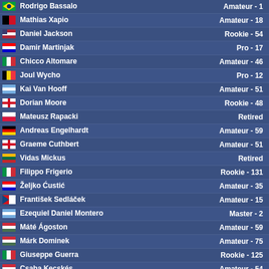| Player | Status |
| --- | --- |
| Rodrigo Bassalo | Amateur - 1 |
| Mathias Xapio | Amateur - 18 |
| Daniel Jackson | Rookie - 54 |
| Damir Martinjak | Pro - 17 |
| Chicco Altomare | Amateur - 46 |
| Joul Wycho | Pro - 12 |
| Kai Van Hooff | Amateur - 51 |
| Dorian Moore | Rookie - 48 |
| Mateusz Rapacki | Retired |
| Andreas Engelhardt | Amateur - 59 |
| Graeme Cuthbert | Amateur - 51 |
| Vidas Mickus | Retired |
| Filippo Frigerio | Rookie - 131 |
| Željko Ćustić | Amateur - 35 |
| František Sedláček | Amateur - 15 |
| Ezequiel Daniel Montero | Master - 2 |
| Máté Ágoston | Amateur - 59 |
| Márk Dominek | Amateur - 75 |
| Giuseppe Guerra | Rookie - 125 |
| Csaba Kecskés | Amateur - 54 |
| Jonas Holl | Retired |
| James Giddy | Retired |
| Paulo Avezum | Amateur - 34 |
| Cedric Mo | Pro - 6 |